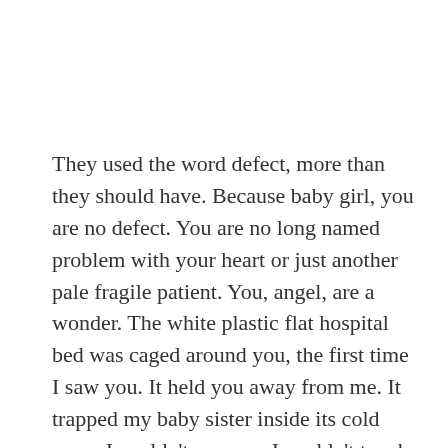They used the word defect, more than they should have. Because baby girl, you are no defect. You are no long named problem with your heart or just another pale fragile patient. You, angel, are a wonder. The white plastic flat hospital bed was caged around you, the first time I saw you. It held you away from me. It trapped my baby sister inside its cold arms. I couldn't see you. I couldn't touch your soft baby skin. I couldn't feel your little red fingers clench around mine. I couldn't hold my baby sister. And I couldn't kiss the very soft beginnings of hair of your tiny baby head. Tubes that were plastic and pale wormed around you. You were only in a diaper, baby sister, and you looked so small. An oxygen tube was stuck in each